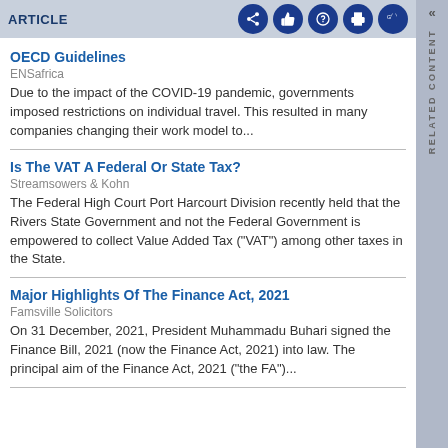ARTICLE
OECD Guidelines
ENSafrica
Due to the impact of the COVID-19 pandemic, governments imposed restrictions on individual travel. This resulted in many companies changing their work model to...
Is The VAT A Federal Or State Tax?
Streamsowers & Kohn
The Federal High Court Port Harcourt Division recently held that the Rivers State Government and not the Federal Government is empowered to collect Value Added Tax ("VAT") among other taxes in the State.
Major Highlights Of The Finance Act, 2021
Famsville Solicitors
On 31 December, 2021, President Muhammadu Buhari signed the Finance Bill, 2021 (now the Finance Act, 2021) into law. The principal aim of the Finance Act, 2021 ("the FA")...